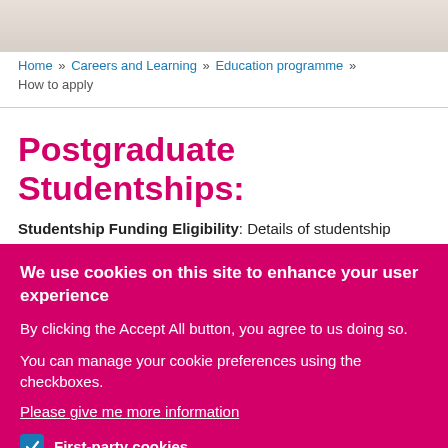[Figure (photo): Partial photo banner at top of page]
Home » Careers and Learning » Education programme » How to apply
Postgraduate Studentships:
Studentship Funding Eligibility: Details of studentship
We use cookies on this site to enhance your user experience
By clicking the Accept All button, you agree to us doing so.
You can manage your cookie preferences using the checkboxes.
Please give me more information
First-party cookies